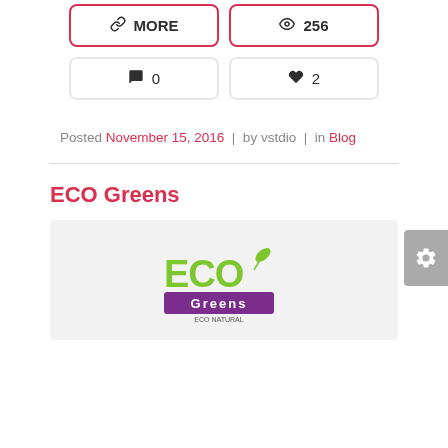[Figure (other): Two button widgets: a chain-link icon labeled MORE and an eye icon labeled 256, both with red borders]
[Figure (other): Two button widgets: a comment icon labeled 0 and a heart icon labeled 2, with light gray borders]
Posted November 15, 2016 | by vstdio | in Blog
ECO Greens
[Figure (logo): ECO Greens logo on a light gray background — green ECO text with a leaf, purple banner reading Greens]